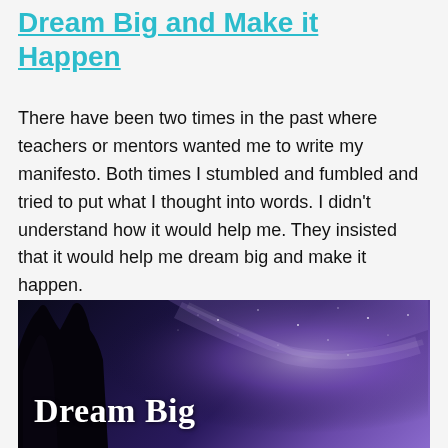Dream Big and Make it Happen
There have been two times in the past where teachers or mentors wanted me to write my manifesto. Both times I stumbled and fumbled and tried to put what I thought into words. I didn't understand how it would help me. They insisted that it would help me dream big and make it happen.
[Figure (photo): Night sky photo with milky way galaxy and silhouette of trees on the left side, with white serif text 'Dream Big' overlaid in the lower left portion of the image.]